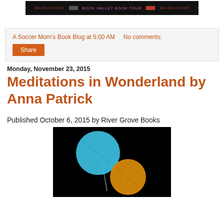[Figure (photo): Book tour banner with author name Melissa Foster and 'Book Valley Book Tour' text on dark background]
A Soccer Mom's Book Blog at 5:00 AM   No comments:
Share
Monday, November 23, 2015
Meditations in Wonderland by Anna Patrick
Published October 6, 2015 by River Grove Books
[Figure (photo): Book cover for Meditations in Wonderland: two overlapping lollipops (blue circle and orange/gold circle) on black background]